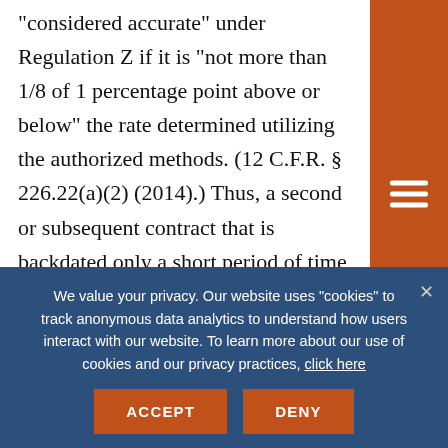“considered accurate” under Regulation Z if it is “not more than 1/8 of 1 percentage point above or below” the rate determined utilizing the authorized methods. (12 C.F.R. § 226.22(a)(2) (2014).) Thus, a second or subsequent contract that is backdated only a short period of time could conceivably fall within the margin of error allowed by Regulation Z, even though the disclosed APR was calculated using a date earlier than the date the contract
We value your privacy. Our website uses "cookies" to track anonymous data analytics to understand how users interact with our website. To learn more about our use of cookies and our privacy practices, click here